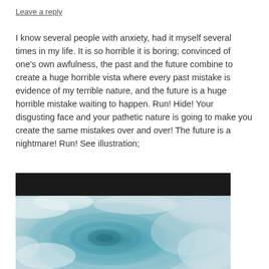Leave a reply
I know several people with anxiety, had it myself several times in my life. It is so horrible it is boring; convinced of one's own awfulness, the past and the future combine to create a huge horrible vista where every past mistake is evidence of my terrible nature, and the future is a huge horrible mistake waiting to happen. Run! Hide! Your disgusting face and your pathetic nature is going to make you create the same mistakes over and over! The future is a nightmare! Run! See illustration;
[Figure (photo): Satellite or aerial image showing a swirling ocean/storm pattern with a dark black bar at the top, then teal and white ocean/cloud imagery below.]